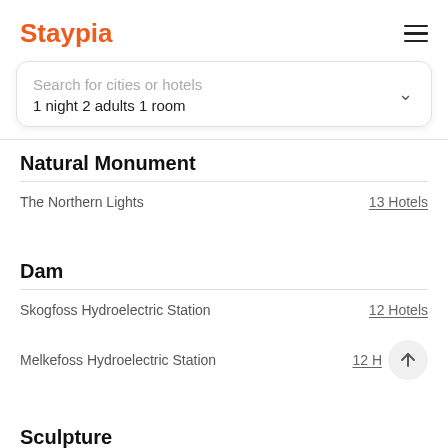Staypia
Search for cities or hotels
1 night 2 adults 1 room
Natural Monument
The Northern Lights   13 Hotels
Dam
Skogfoss Hydroelectric Station   12 Hotels
Melkefoss Hydroelectric Station   12 H
Sculpture
Haymannen   12 Hotels